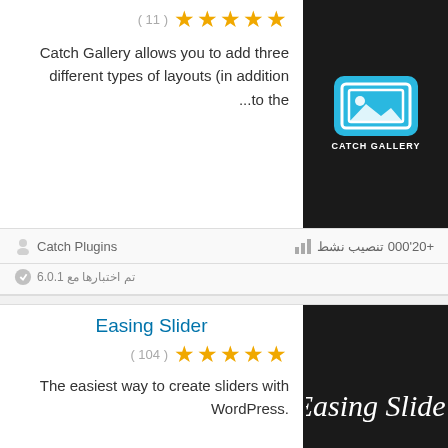( 11 ) ★★★★★
Catch Gallery allows you to add three different types of layouts (in addition ...to the
[Figure (logo): Catch Gallery plugin logo - dark background with image icon and CATCH GALLERY text]
Catch Plugins
+20'000 تنصيب نشط
تم اختبارها مع 6.0.1
Easing Slider
( 104 ) ★★★★★
The easiest way to create sliders with WordPress.
[Figure (logo): Easing Slider plugin logo - dark background with cursive Easing Slider text]
Matthew Ruddy
+20'000 تنصيب نشط
تم اختبارها مع 4.6.23